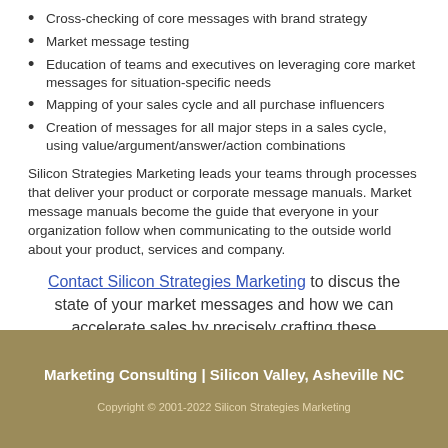Cross-checking of core messages with brand strategy
Market message testing
Education of teams and executives on leveraging core market messages for situation-specific needs
Mapping of your sales cycle and all purchase influencers
Creation of messages for all major steps in a sales cycle, using value/argument/answer/action combinations
Silicon Strategies Marketing leads your teams through processes that deliver your product or corporate message manuals. Market message manuals become the guide that everyone in your organization follow when communicating to the outside world about your product, services and company.
Contact Silicon Strategies Marketing to discus the state of your market messages and how we can accelerate sales by precisely crafting these messages.
Marketing Consulting | Silicon Valley, Asheville NC
Copyright © 2001-2022 Silicon Strategies Marketing